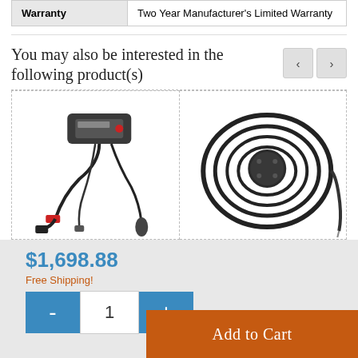| Warranty | Two Year Manufacturer's Limited Warranty |
You may also be interested in the following product(s)
[Figure (photo): Battery charger with cables and connectors]
[Figure (photo): Round black sensor/pump device with long black cable coiled around it]
$1,698.88
Free Shipping!
- 1 + Add to Cart